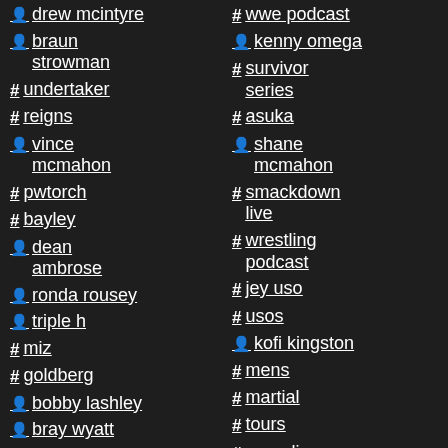# wwe podcast
person drew mcintyre
person kenny omega
person braun strowman
# survivor series
# undertaker
# asuka
# reigns
person shane mcmahon
person vince mcmahon
# smackdown live
# pwtorch
# wrestling podcast
# bayley
# jey uso
person dean ambrose
# usos
person ronda rousey
person kofi kingston
person triple h
# mens
# miz
# martial
# goldberg
# tours
person bobby lashley
# grappling
person bray wyatt
# post show
person charlotte flair